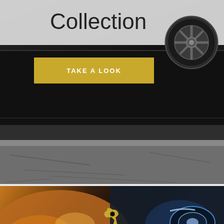Collection
[Figure (photo): Dark colored luxury car side profile with alloy wheel visible in top right, parked on concrete road/curb area]
TAKE A LOOK
[Figure (photo): Close-up of dark blue sports car headlight with warm orange car in background, yellow wrench icon overlay in center]
NUTRITIVE SKIN
The default look of all the contents element, from heading, paragraph, buttons, tables, etc. look just perfect in any case.